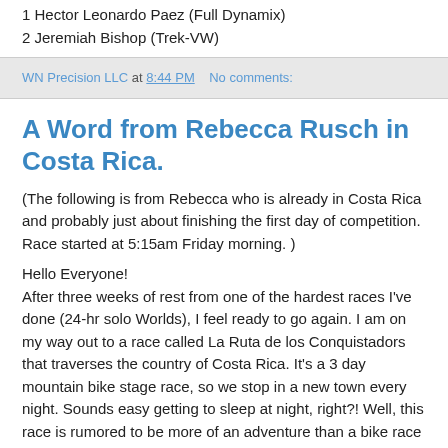1 Hector Leonardo Paez (Full Dynamix)
2 Jeremiah Bishop (Trek-VW)
WN Precision LLC at 8:44 PM   No comments:
A Word from Rebecca Rusch in Costa Rica.
(The following is from Rebecca who is already in Costa Rica and probably just about finishing the first day of competition. Race started at 5:15am Friday morning. )
Hello Everyone!
After three weeks of rest from one of the hardest races I've done (24-hr solo Worlds), I feel ready to go again. I am on my way out to a race called La Ruta de los Conquistadors that traverses the country of Costa Rica. It's a 3 day mountain bike stage race, so we stop in a new town every night. Sounds easy getting to sleep at night, right?! Well, this race is rumored to be more of an adventure than a bike race